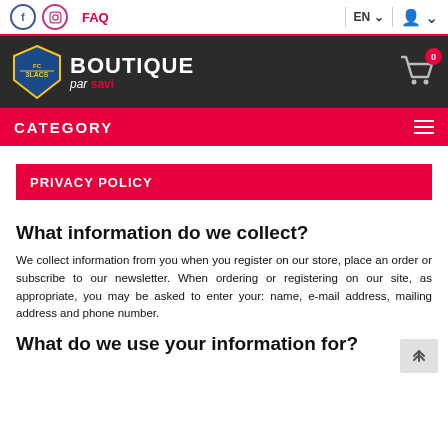FAQ  EN  [user icon]
[Figure (logo): FC 3Lacs Boutique par Savi logo with shopping cart showing 0 items]
CATEGORY
PRIVACY POLICY
What information do we collect?
We collect information from you when you register on our store, place an order or subscribe to our newsletter. When ordering or registering on our site, as appropriate, you may be asked to enter your: name, e-mail address, mailing address and phone number.
What do we use your information for?